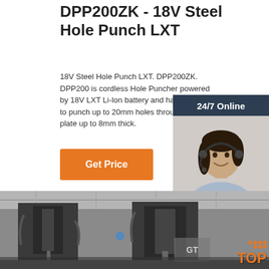DPP200ZK - 18V Steel Hole Punch LXT
18V Steel Hole Punch LXT. DPP200ZK. DPP200 is cordless Hole Puncher powered by 18V LXT Li-Ion battery and has a capacity to punch up to 20mm holes through steel plate up to 8mm thick.
Get Price
[Figure (photo): Customer service representative wearing headset with '24/7 Online' banner and 'Click here for free chat!' caption and QUOTATION button, overlaid on chat widget panel]
[Figure (photo): Industrial steel hole punch machine in a factory workshop setting, with a 'TOP' badge in the lower right corner]